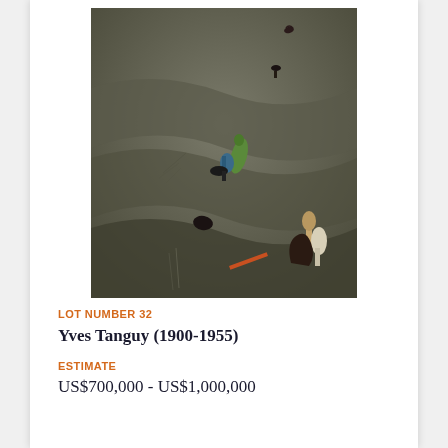[Figure (photo): Surrealist painting by Yves Tanguy featuring abstract biomorphic forms and objects scattered across a dreamlike grey-brown undulating landscape.]
LOT NUMBER 32
Yves Tanguy (1900-1955)
ESTIMATE
US$700,000 - US$1,000,000